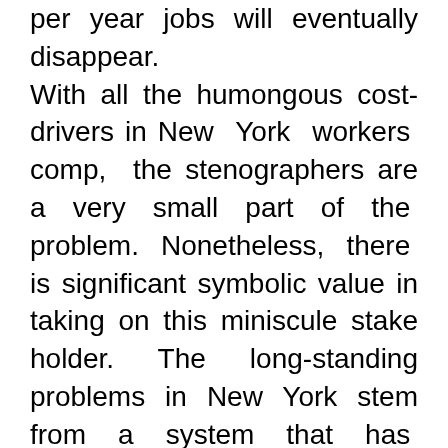per year jobs will eventually disappear. With all the humongous cost-drivers in New York workers comp, the stenographers are a very small part of the problem. Nonetheless, there is significant symbolic value in taking on this miniscule stake holder. The long-standing problems in New York stem from a system that has made very little movement away from the bitter labor environment of the early 20th century. A profound lack of trust permeates the system. The Governor, the legislature and the